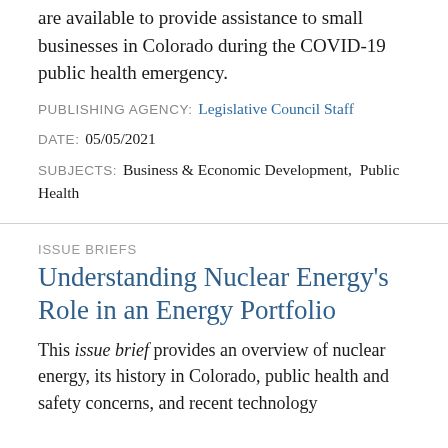are available to provide assistance to small businesses in Colorado during the COVID-19 public health emergency.
PUBLISHING AGENCY: Legislative Council Staff
DATE: 05/05/2021
SUBJECTS: Business & Economic Development,  Public Health
ISSUE BRIEFS
Understanding Nuclear Energy's Role in an Energy Portfolio
This issue brief provides an overview of nuclear energy, its history in Colorado, public health and safety concerns, and recent technology